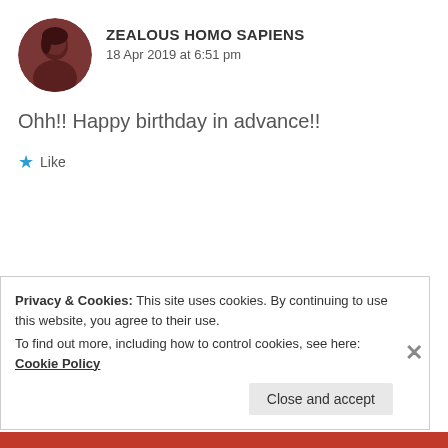ZEALOUS HOMO SAPIENS
18 Apr 2019 at 6:51 pm
Ohh!! Happy birthday in advance!!
Like
[Figure (photo): Circular avatar of second commenter, colorfully dressed woman]
□□□□ □□□□
18 Apr 2019 at 7:05 pm
Privacy & Cookies: This site uses cookies. By continuing to use this website, you agree to their use. To find out more, including how to control cookies, see here: Cookie Policy
Close and accept